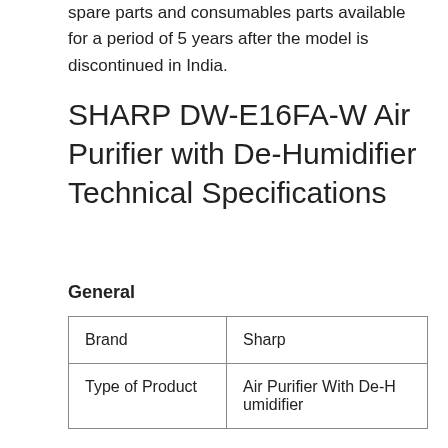spare parts and consumables parts available for a period of 5 years after the model is discontinued in India.
SHARP DW-E16FA-W Air Purifier with De-Humidifier Technical Specifications
General
| Brand | Sharp |
| Type of Product | Air Purifier With De-Humidifier |